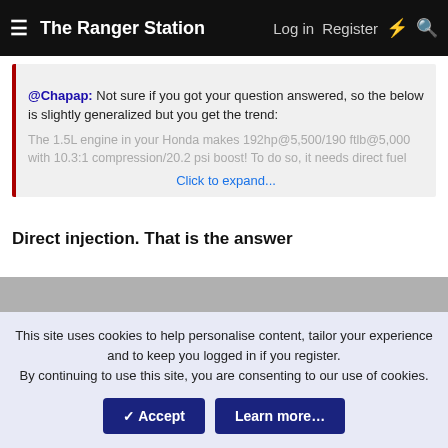The Ranger Station  Log in  Register
@Chapap: Not sure if you got your question answered, so the below is slightly generalized but you get the trend:
The 1.5L engine in your Honda makes 192hp@5,500/190 ftlb@5,000 with 10.3:1 compression/20.2 psi boost! To do so, it needs direct fuel
Click to expand...
Direct injection. That is the answer
This site uses cookies to help personalise content, tailor your experience and to keep you logged in if you register.
By continuing to use this site, you are consenting to our use of cookies.